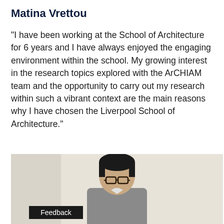Matina Vrettou
“I have been working at the School of Architecture for 6 years and I have always enjoyed the engaging environment within the school. My growing interest in the research topics explored with the ArCHIAM team and the opportunity to carry out my research within such a vibrant context are the main reasons why I have chosen the Liverpool School of Architecture.”
[Figure (photo): Photo of a person (man with glasses and dark hair) in front of a light-coloured wall, with a dark 'Feedback' label overlaid at the bottom left of the image.]